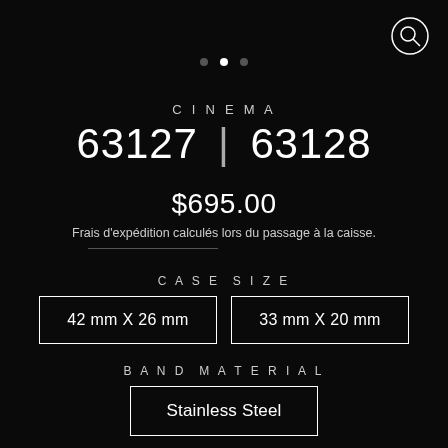[Figure (other): Search icon circle in top right corner]
• • •  (pagination dots, middle dot active)
CINEMA
63127 | 63128
$695.00
Frais d'expédition calculés lors du passage à la caisse.
CASE SIZE
42 mm X 26 mm
33 mm X 20 mm
BAND MATERIAL
Stainless Steel